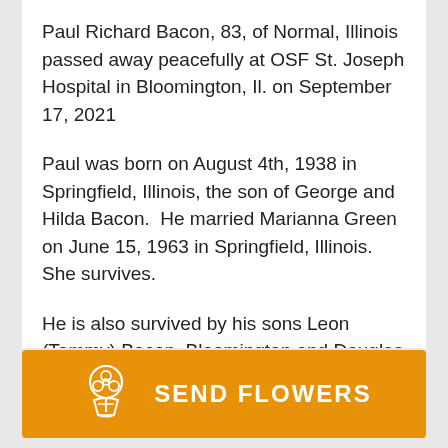Paul Richard Bacon, 83, of Normal, Illinois passed away peacefully at OSF St. Joseph Hospital in Bloomington, Il. on September 17, 2021
Paul was born on August 4th, 1938 in Springfield, Illinois, the son of George and Hilda Bacon.  He married Marianna Green on June 15, 1963 in Springfield, Illinois. She survives.
He is also survived by his sons Leon (Tammy) Bacon, Bloomington and Douglas (Elaine) Bacon, Defuniak Springs, Fl and grandchildren.  Brenden
[Figure (illustration): Send Flowers button with bouquet icon on orange background]